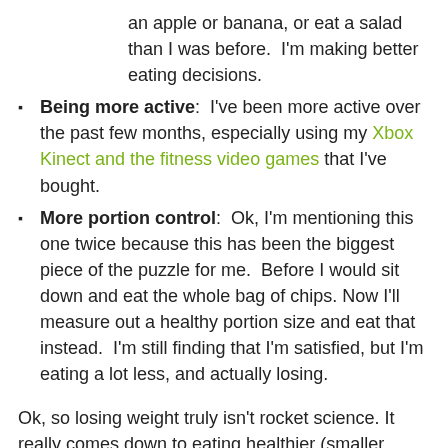an apple or banana, or eat a salad than I was before.  I'm making better eating decisions.
Being more active:  I've been more active over the past few months, especially using my Xbox Kinect and the fitness video games that I've bought.
More portion control:  Ok, I'm mentioning this one twice because this has been the biggest piece of the puzzle for me.  Before I would sit down and eat the whole bag of chips. Now I'll measure out a healthy portion size and eat that instead.  I'm still finding that I'm satisfied, but I'm eating a lot less, and actually losing.
Ok, so losing weight truly isn't rocket science. It really comes down to eating healthier (smaller portions, healthier foods), and getting some activity worked into your daily plan. That's it. The progress isn't always super fast, but if you do those things you will lose weight.